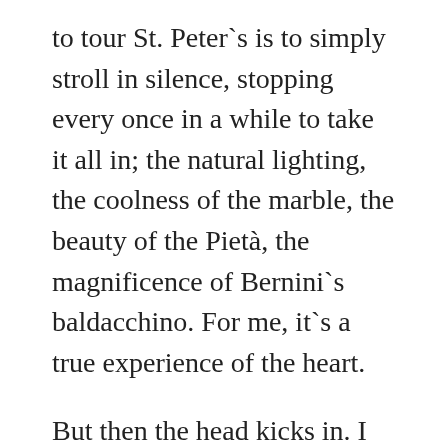to tour St. Peter`s is to simply stroll in silence, stopping every once in a while to take it all in; the natural lighting, the coolness of the marble, the beauty of the Pietà, the magnificence of Bernini`s baldacchino. For me, it`s a true experience of the heart.
But then the head kicks in. I